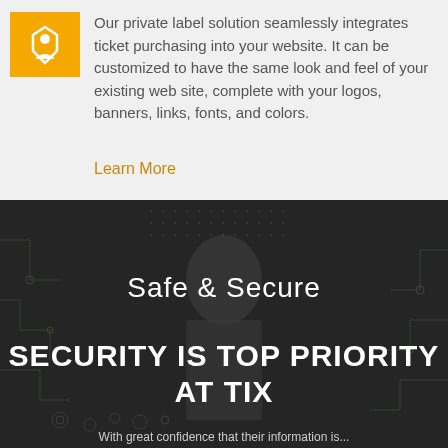[Figure (logo): Yellow square icon with a white stylized figure/logo]
Our private label solution seamlessly integrates ticket purchasing into your website. It can be customized to have the same look and feel of your existing web site, complete with your logos, banners, links, fonts, and colors.
Learn More
[Figure (photo): Dark technology background with circuit board patterns and a person pointing at a digital screen]
Safe & Secure
SECURITY IS TOP PRIORITY AT TIX
With great confidence that their information is...